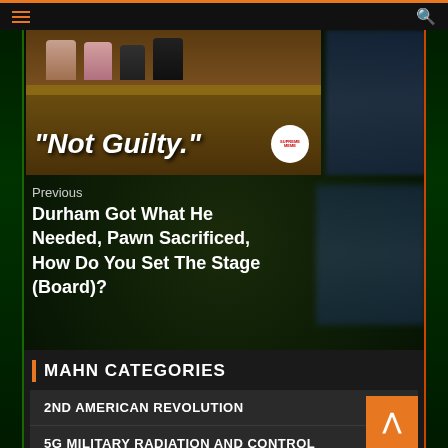Navigation bar with hamburger menu and search icon
[Figure (photo): Courtroom scene photo with text overlay reading "Not Guilty." and a circular stamp/logo in the bottom right]
Previous
Durham Got What He Needed, Pawn Sacrificed, How Do You Set The Stage (Board)?
MAHN CATEGORIES
2ND AMERICAN REVOLUTION
5G MILITARY RADIATION AND CONTROL